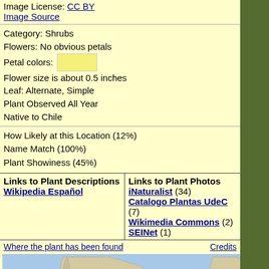Image License: CC BY
Image Source
Category: Shrubs
Flowers: No obvious petals
Petal colors: [yellow swatch]
Flower size is about 0.5 inches
Leaf: Alternate, Simple
Plant Observed All Year
Native to Chile
How Likely at this Location (12%)
Name Match (100%)
Plant Showiness (45%)
| Links to Plant Descriptions | Links to Plant Photos |
| --- | --- |
| Wikipedia Español | iNaturalist (34)
Catalogo Plantas UdeC (7)
Wikimedia Commons (2)
SEINet (1) |
Where the plant has been found
Credits
[Figure (map): Map of South America (Chile highlighted) showing where the plant has been found, with small markers along the Chilean coast.]